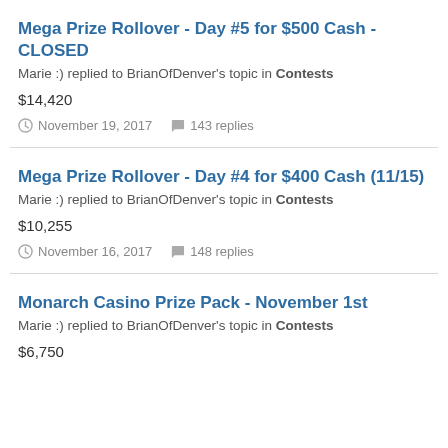Mega Prize Rollover - Day #5 for $500 Cash - CLOSED
Marie :) replied to BrianOfDenver's topic in Contests
$14,420
November 19, 2017  143 replies
Mega Prize Rollover - Day #4 for $400 Cash (11/15)
Marie :) replied to BrianOfDenver's topic in Contests
$10,255
November 16, 2017  148 replies
Monarch Casino Prize Pack - November 1st
Marie :) replied to BrianOfDenver's topic in Contests
$6,750